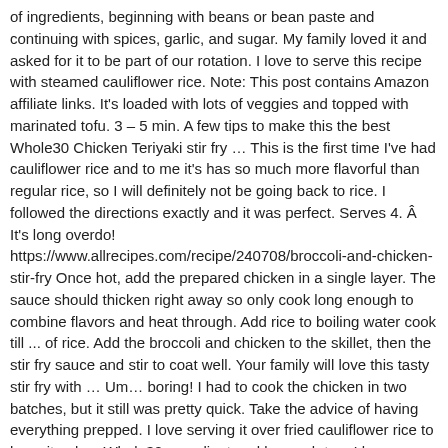of ingredients, beginning with beans or bean paste and continuing with spices, garlic, and sugar. My family loved it and asked for it to be part of our rotation. I love to serve this recipe with steamed cauliflower rice. Note: This post contains Amazon affiliate links. It's loaded with lots of veggies and topped with marinated tofu. 3 – 5 min. A few tips to make this the best Whole30 Chicken Teriyaki stir fry … This is the first time I've had cauliflower rice and to me it's has so much more flavorful than regular rice, so I will definitely not be going back to rice. I followed the directions exactly and it was perfect. Serves 4. Â It's long overdo! https://www.allrecipes.com/recipe/240708/broccoli-and-chicken-stir-fry Once hot, add the prepared chicken in a single layer. The sauce should thicken right away so only cook long enough to combine flavors and heat through. Add rice to boiling water cook till ... of rice. Add the broccoli and chicken to the skillet, then the stir fry sauce and stir to coat well. Your family will love this tasty stir fry with … Um… boring! I had to cook the chicken in two batches, but it still was pretty quick. Take the advice of having everything prepped. I love serving it over fried cauliflower rice to keep it paleo, Whole30 compliant and low carb too. I love serving it over fried cauliflower rice to keep it paleo, Whole30 compliant and low carb too. Thank you! Could coconut flour or almond flour be used as a thickener instead of arrowroot? Start cooking the rice the same time you star the stir fry so it is ready at the same time. LOL Just delicious, fast and easy! This is especially true when going from